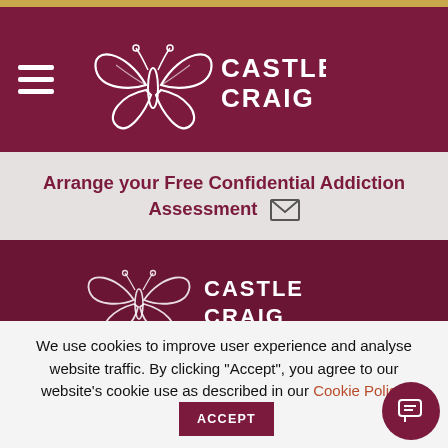Castle Craig
Arrange your Free Confidential Addiction Assessment
[Figure (logo): Castle Craig logo with butterfly and text on dark maroon background]
Established in 1988 by Peter and Dr Margaret McCann,
We use cookies to improve user experience and analyse website traffic. By clicking "Accept", you agree to our website's cookie use as described in our Cookie Policy.